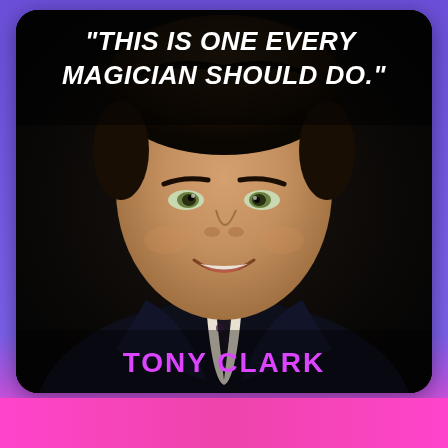[Figure (photo): Photo of Tony Clark, a man in a dark pinstripe suit with a patterned tie, smiling confidently at the camera against a dark background. A bold italic quote appears at the top of the image: 'THIS IS ONE EVERY MAGICIAN SHOULD DO.' and his name 'TONY CLARK' appears in magenta at the bottom.]
"THIS IS ONE EVERY MAGICIAN SHOULD DO."
TONY CLARK